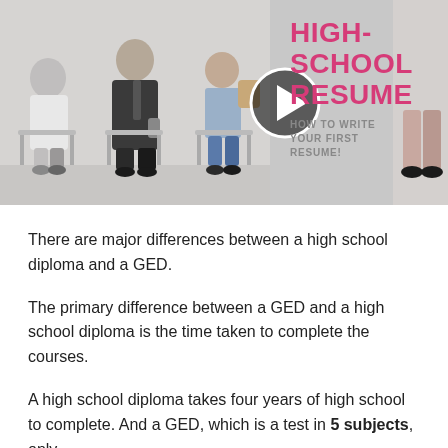[Figure (photo): A thumbnail image showing people sitting in chairs (waiting room/job interview scene). Overlaid with a circular play button in the center. To the right of the photo, pink bold text reads 'HIGH-SCHOOL RESUME' with subtitle 'HOW TO WRITE YOUR FIRST RESUME!']
There are major differences between a high school diploma and a GED.
The primary difference between a GED and a high school diploma is the time taken to complete the courses.
A high school diploma takes four years of high school to complete. And a GED, which is a test in 5 subjects, only